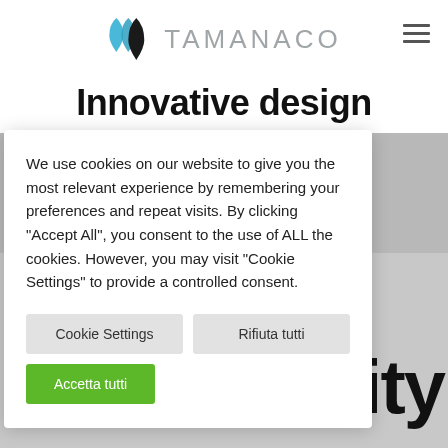[Figure (logo): Tamanaco logo with water droplet icon in blue and black, followed by TAMANACO text in gray]
Innovative design
We use cookies on our website to give you the most relevant experience by remembering your preferences and repeat visits. By clicking “Accept All”, you consent to the use of ALL the cookies. However, you may visit “Cookie Settings” to provide a controlled consent.
Cookie Settings
Rifiuta tutti
Accetta tutti
ity